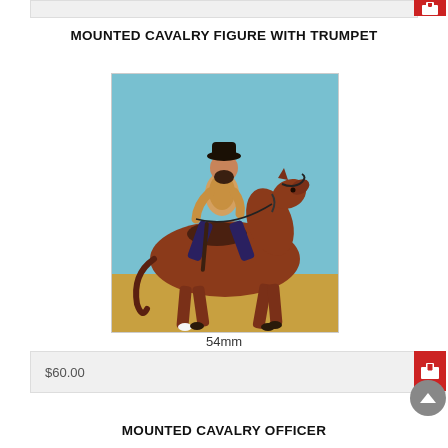MOUNTED CAVALRY FIGURE WITH TRUMPET
[Figure (photo): A painted toy/figurine of a cavalry soldier riding a brown horse. The soldier wears a black hat and yellow/tan uniform. The background of the product photo shows light blue and sandy yellow colors. Scale: 54mm.]
54mm
$60.00
MOUNTED CAVALRY OFFICER